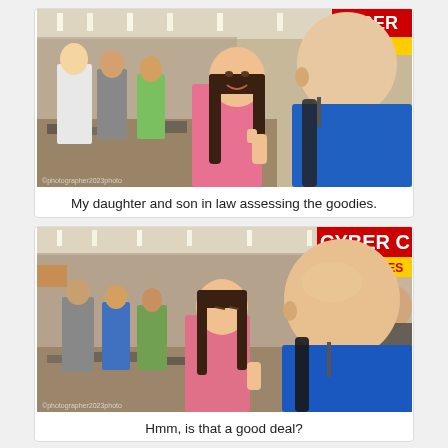[Figure (photo): A young woman smiling and a bald man examining merchandise at a convention floor with a CYBER sign visible in the background and many people browsing tables of goods.]
My daughter and son in law assessing the goodies.
[Figure (photo): The same young woman and bald man now both looking down at something, at the same convention, with CYBER C sign visible and crowds in background.]
Hmm, is that a good deal?